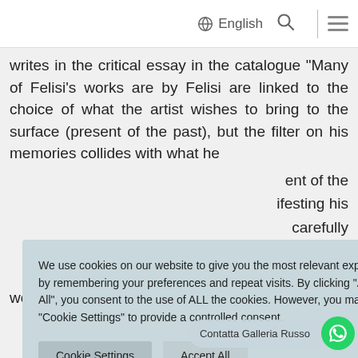English
writes in the critical essay in the catalogue “Many of Felisi’s works are by Felisi are linked to the choice of what the artist wishes to bring to the surface (present of the past), but the filter on his memories collides with what he …ent of the …ifesting his …carefully …is …rics are works in the graphics, tarlantana, and are
We use cookies on our website to give you the most relevant experience by remembering your preferences and repeat visits. By clicking “Accept All”, you consent to the use of ALL the cookies. However, you may visit “Cookie Settings” to provide a controlled consent.
Contatta Galleria Russo